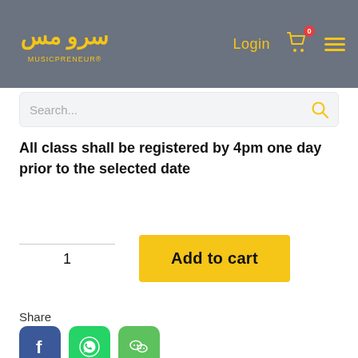[Figure (screenshot): Website header with Musicpreneur logo (Arabic script and English text), Login link, cart icon with badge showing 0, and hamburger menu. Dark gray background.]
[Figure (screenshot): Search bar with placeholder text 'Search...' and a yellow magnifying glass icon on the right.]
All class shall be registered by 4pm one day prior to the selected date
[Figure (screenshot): Quantity input showing 1 with a horizontal line above, and a yellow 'Add to cart' button.]
Share
[Figure (screenshot): Three social share icons: Facebook (blue), WhatsApp (green), WeChat (green).]